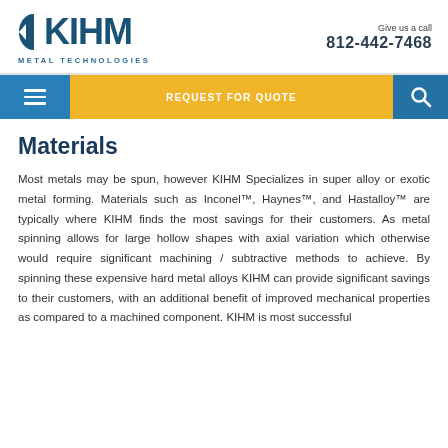[Figure (logo): KIHM Metal Technologies logo with stylized K arrow icon in teal/dark blue]
Give us a call
812-442-7468
[Figure (infographic): Navigation bar with hamburger menu, REQUEST FOR QUOTE button in yellow, and search icon]
Materials
Most metals may be spun, however KIHM Specializes in super alloy or exotic metal forming. Materials such as Inconel™, Haynes™, and Hastalloy™ are typically where KIHM finds the most savings for their customers. As metal spinning allows for large hollow shapes with axial variation which otherwise would require significant machining / subtractive methods to achieve. By spinning these expensive hard metal alloys KIHM can provide significant savings to their customers, with an additional benefit of improved mechanical properties as compared to a machined component. KIHM is most successful